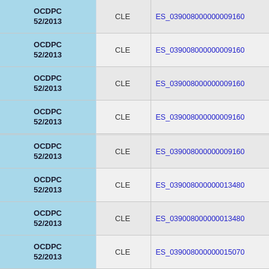|  | CLE |  |
| --- | --- | --- |
| OCDPC 52/2013 | CLE | ES_039008000000009160 |
| OCDPC 52/2013 | CLE | ES_039008000000009160 |
| OCDPC 52/2013 | CLE | ES_039008000000009160 |
| OCDPC 52/2013 | CLE | ES_039008000000009160 |
| OCDPC 52/2013 | CLE | ES_039008000000009160 |
| OCDPC 52/2013 | CLE | ES_039008000000013480 |
| OCDPC 52/2013 | CLE | ES_039008000000013480 |
| OCDPC 52/2013 | CLE | ES_039008000000015070 |
| OCDPC | CLE | ES_039008000000015070 |